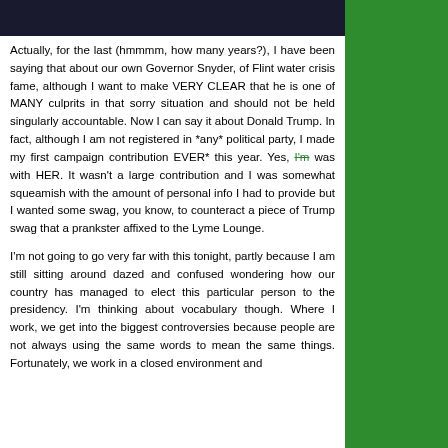[Figure (photo): Dark photograph strip at top of content area]
Actually, for the last (hmmmm, how many years?), I have been saying that about our own Governor Snyder, of Flint water crisis fame, although I want to make VERY CLEAR that he is one of MANY culprits in that sorry situation and should not be held singularly accountable. Now I can say it about Donald Trump. In fact, although I am not registered in *any* political party, I made my first campaign contribution EVER* this year. Yes, I'm [strikethrough] was with HER. It wasn't a large contribution and I was somewhat squeamish with the amount of personal info I had to provide but I wanted some swag, you know, to counteract a piece of Trump swag that a prankster affixed to the Lyme Lounge.
I'm not going to go very far with this tonight, partly because I am still sitting around dazed and confused wondering how our country has managed to elect this particular person to the presidency. I'm thinking about vocabulary though. Where I work, we get into the biggest controversies because people are not always using the same words to mean the same things. Fortunately, we work in a closed environment and